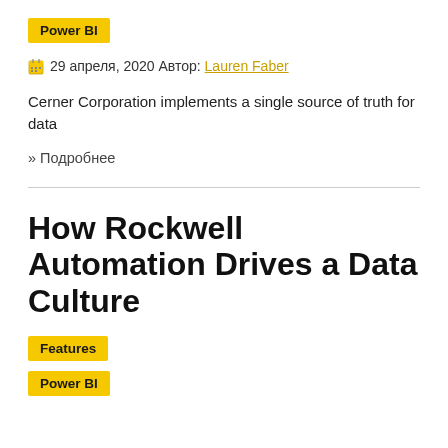Power BI
29 апреля, 2020 Автор: Lauren Faber
Cerner Corporation implements a single source of truth for data
» Подробнее
How Rockwell Automation Drives a Data Culture
Features
Power BI